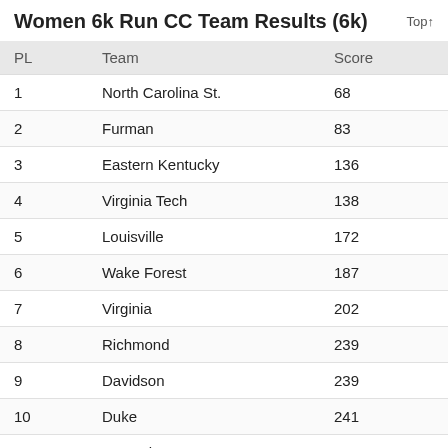Women 6k Run CC Team Results (6k)
| PL | Team | Score |
| --- | --- | --- |
| 1 | North Carolina St. | 68 |
| 2 | Furman | 83 |
| 3 | Eastern Kentucky | 136 |
| 4 | Virginia Tech | 138 |
| 5 | Louisville | 172 |
| 6 | Wake Forest | 187 |
| 7 | Virginia | 202 |
| 8 | Richmond | 239 |
| 9 | Davidson | 239 |
| 10 | Duke | 241 |
| 11 | Kentucky | 283 |